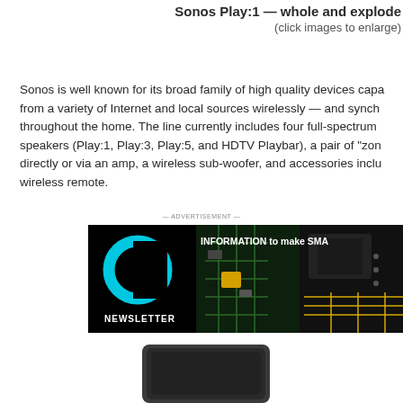Sonos Play:1 — whole and explode (click images to enlarge)
Sonos is well known for its broad family of high quality devices capable of playing audio from a variety of Internet and local sources wirelessly — and synching audio playback throughout the home. The line currently includes four full-spectrum wireless speakers (Play:1, Play:3, Play:5, and HDTV Playbar), a pair of "zone bridge" units directly or via an amp, a wireless sub-woofer, and accessories including a wireless remote.
— ADVERTISEMENT —
[Figure (other): Advertisement banner for a newsletter featuring an electronics/engineering newsletter logo (stylized C) on black background with the text INFORMATION to make SMARTER DECISIONS and various electronics product images including circuit boards and electronic components.]
[Figure (photo): Partial view of a Sonos Play:1 speaker device, dark colored, appearing at the bottom of the page.]